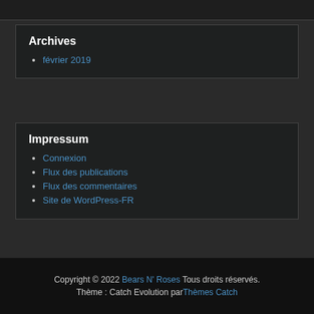Archives
février 2019
Impressum
Connexion
Flux des publications
Flux des commentaires
Site de WordPress-FR
Copyright © 2022 Bears N' Roses Tous droits réservés. Thème : Catch Evolution par Thèmes Catch